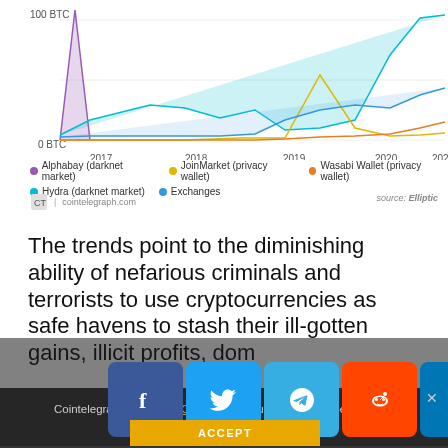[Figure (line-chart): Line/area chart showing Bitcoin transaction flows to darknet markets, privacy wallets, and exchanges from 2017 to 2021]
The trends point to the diminishing ability of nefarious criminals and terrorists to use cryptocurrencies as safe havens to stash their ill-gotten gains, illicit profits, donations, and funds. According to official reports, AlphaBay was found to have moved a small portion of Bitcoin to darknet exchange Alphabay and from there to regular crypto exchanges. This is the technique that the Feds used to apprehend the defendants.
Cointelegraph.com uses Cookies to ensure the best experience for you.